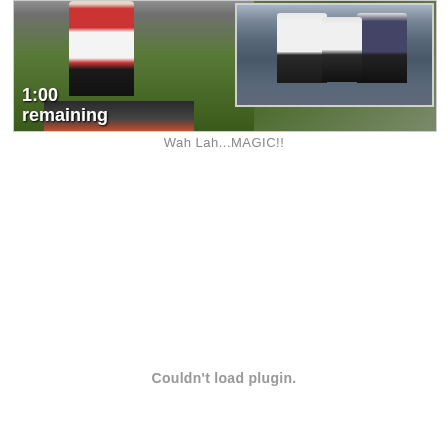[Figure (photo): Collage of two NFL football game photos. Left photo shows a player in a red/white Giants uniform on a green field with '1:00' and 'remaining' text overlay. Right photo shows players from Giants (white) and Patriots (dark) uniforms in action on an indoor field.]
Wah Lah...MAGIC!!
Couldn't load plugin.